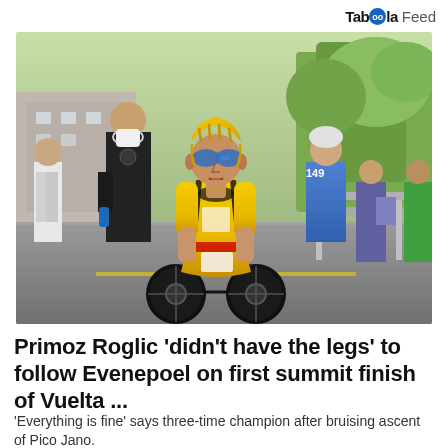Taboola Feed
[Figure (photo): Cyclist Primoz Roglic in yellow and black jersey riding a black bicycle after finishing a stage, accompanied by a man in black wearing a white face mask; other cyclists and spectators visible in background on a city street with metal barriers.]
Primoz Roglic 'didn't have the legs' to follow Evenepoel on first summit finish of Vuelta ...
'Everything is fine' says three-time champion after bruising ascent of Pico Jano.